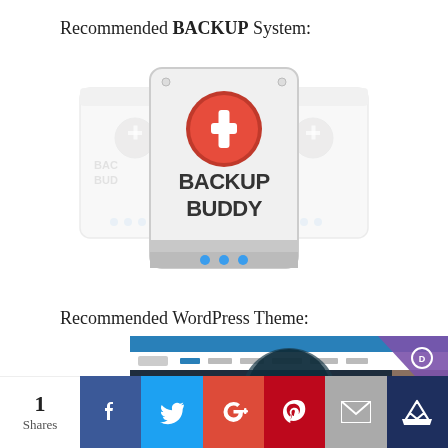Recommended BACKUP System:
[Figure (illustration): BackupBuddy plugin logo — multiple stacked hard-drive icons with red cross badge, text reads BACKUP BUDDY]
Recommended WordPress Theme:
[Figure (screenshot): Screenshot of a WordPress website using the Divi theme, showing a website builder demo page with 'Introducing Divi' headline and a purple 'Powered by the Divi Builder' badge in top right corner]
1
Shares
[Figure (infographic): Social sharing bar with Facebook, Twitter, Google+, Pinterest, Email, and Crown icons]